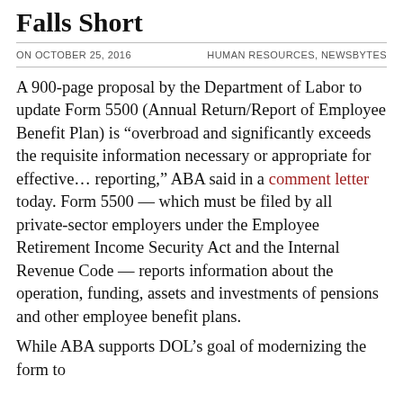Falls Short
ON OCTOBER 25, 2016   HUMAN RESOURCES, NEWSBYTES
A 900-page proposal by the Department of Labor to update Form 5500 (Annual Return/Report of Employee Benefit Plan) is “overbroad and significantly exceeds the requisite information necessary or appropriate for effective… reporting,” ABA said in a comment letter today. Form 5500 — which must be filed by all private-sector employers under the Employee Retirement Income Security Act and the Internal Revenue Code — reports information about the operation, funding, assets and investments of pensions and other employee benefit plans.
While ABA supports DOL’s goal of modernizing the form to